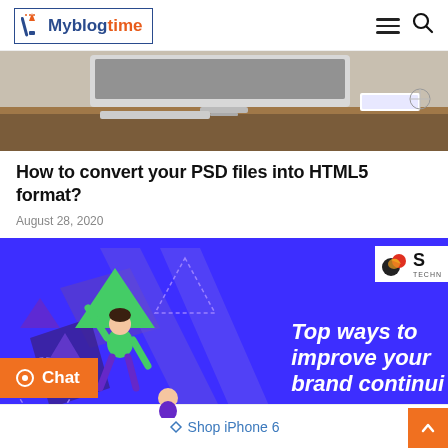Myblogtime
[Figure (photo): Partial view of a desktop computer monitor on a wooden desk with a book or notebook visible on the right]
How to convert your PSD files into HTML5 format?
August 28, 2020
[Figure (illustration): Promotional banner with blue/purple background showing a person holding a green triangle shape, with text 'Top ways to improve your brand continui...' and a logo in the top right]
Shop iPhone 6